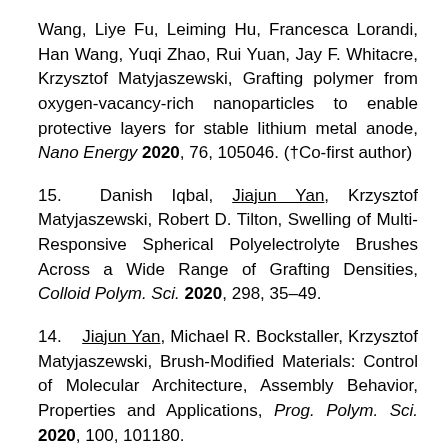Wang, Liye Fu, Leiming Hu, Francesca Lorandi, Han Wang, Yuqi Zhao, Rui Yuan, Jay F. Whitacre, Krzysztof Matyjaszewski, Grafting polymer from oxygen-vacancy-rich nanoparticles to enable protective layers for stable lithium metal anode, Nano Energy 2020, 76, 105046. (†Co-first author)
15. Danish Iqbal, Jiajun Yan, Krzysztof Matyjaszewski, Robert D. Tilton, Swelling of Multi-Responsive Spherical Polyelectrolyte Brushes Across a Wide Range of Grafting Densities, Colloid Polym. Sci. 2020, 298, 35–49.
14. Jiajun Yan, Michael R. Bockstaller, Krzysztof Matyjaszewski, Brush-Modified Materials: Control of Molecular Architecture, Assembly Behavior, Properties and Applications, Prog. Polym. Sci. 2020, 100, 101180.
13. Zongyu Wang †, Jiajun Yan †, Tong Liu, Qiangbing Wei, Sipei Li, Mateusz Olszewski, Jianing Wu, Julian Sobieski,